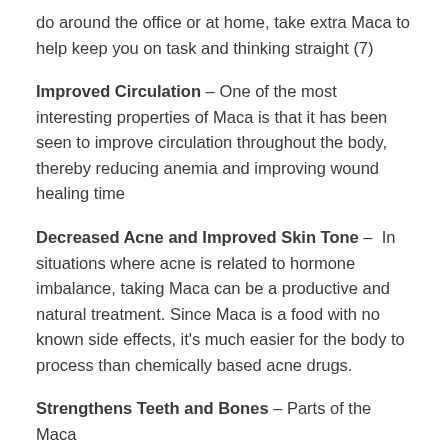do around the office or at home, take extra Maca to help keep you on task and thinking straight (7)
Improved Circulation – One of the most interesting properties of Maca is that it has been seen to improve circulation throughout the body, thereby reducing anemia and improving wound healing time
Decreased Acne and Improved Skin Tone – In situations where acne is related to hormone imbalance, taking Maca can be a productive and natural treatment. Since Maca is a food with no known side effects, it's much easier for the body to process than chemically based acne drugs.
Strengthens Teeth and Bones – Parts of the Maca...